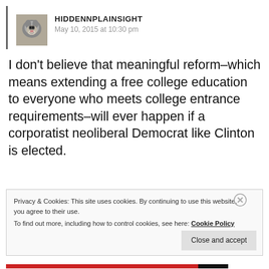HIDDENNPLAINSIGHT
May 10, 2015 at 10:30 pm
I don't believe that meaningful reform–which means extending a free college education to everyone who meets college entrance requirements–will ever happen if a corporatist neoliberal Democrat like Clinton is elected.
Privacy & Cookies: This site uses cookies. By continuing to use this website, you agree to their use.
To find out more, including how to control cookies, see here: Cookie Policy
Close and accept